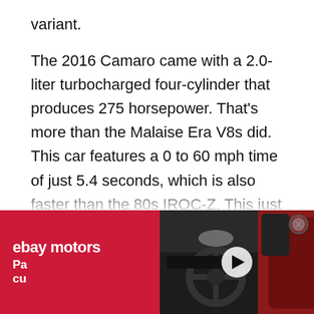variant.
The 2016 Camaro came with a 2.0-liter turbocharged four-cylinder that produces 275 horsepower. That's more than the Malaise Era V8s did. This car features a 0 to 60 mph time of just 5.4 seconds, which is also faster than the 80s IROC-Z. This just goes to prove that the automotive innovations continue to grow and change so we can have faster, better vehicles in our future. While this isn't t
[Figure (screenshot): eBay Motors advertisement overlay at the bottom of the page showing a car interior with red and black seats, an eBay Motors logo on a red background, partially visible text 'Par...' and 'cus...', a play button, and a close (X) button.]